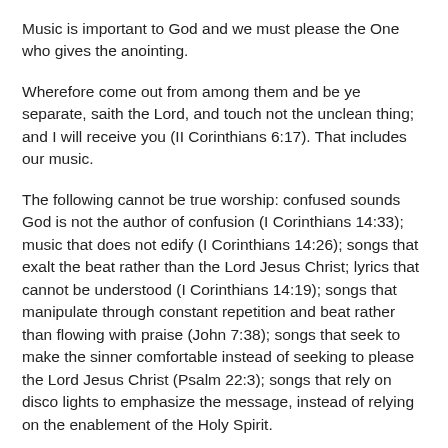Music is important to God and we must please the One who gives the anointing.
Wherefore come out from among them and be ye separate, saith the Lord, and touch not the unclean thing; and I will receive you (II Corinthians 6:17). That includes our music.
The following cannot be true worship: confused sounds God is not the author of confusion (I Corinthians 14:33); music that does not edify (I Corinthians 14:26); songs that exalt the beat rather than the Lord Jesus Christ; lyrics that cannot be understood (I Corinthians 14:19); songs that manipulate through constant repetition and beat rather than flowing with praise (John 7:38); songs that seek to make the sinner comfortable instead of seeking to please the Lord Jesus Christ (Psalm 22:3); songs that rely on disco lights to emphasize the message, instead of relying on the enablement of the Holy Spirit.
The sassy, presumptuous, and confused sounds of much of so-called religious music do not qualify as spiritual worship. Songs, choruses, and hymns that usher both the sinner and saint into the presence of God please Him. Godly music that refreshes and